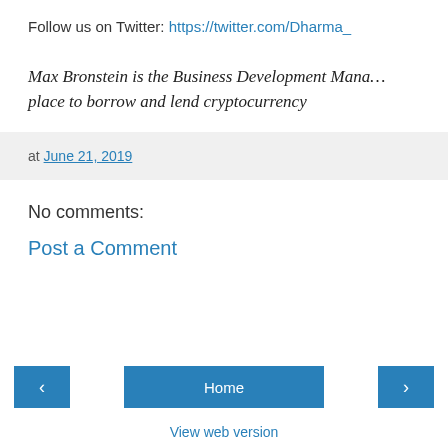Follow us on Twitter: https://twitter.com/Dharma_
Max Bronstein is the Business Development Mana… place to borrow and lend cryptocurrency
at June 21, 2019
No comments:
Post a Comment
Home
View web version